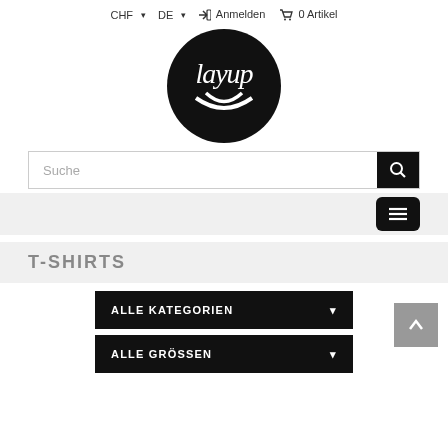CHF ▾  DE ▾  ⇒ Anmelden  🛒 0 Artikel
[Figure (logo): Circular black logo with white stylized 'layup' text/lettering]
Suche
[Figure (screenshot): Navigation/hamburger menu bar with grey background and black hamburger icon button on right]
T-SHIRTS
ALLE KATEGORIEN ▾
ALLE GRÖSSEN ▾